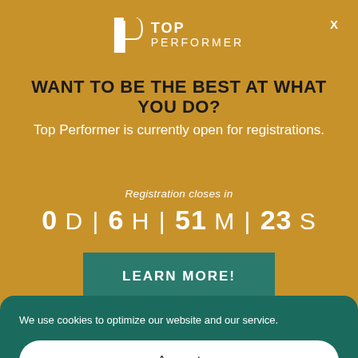[Figure (logo): Top Performer logo with stylized P and text TOP PERFORMER]
WANT TO BE THE BEST AT WHAT YOU DO?
Top Performer is currently open for registrations.
Registration closes in
0 D | 6 H | 51 M | 23 S
LEARN MORE!
We use cookies to optimize our website and our service.
Accept
Cookie Policy   Privacy Policy